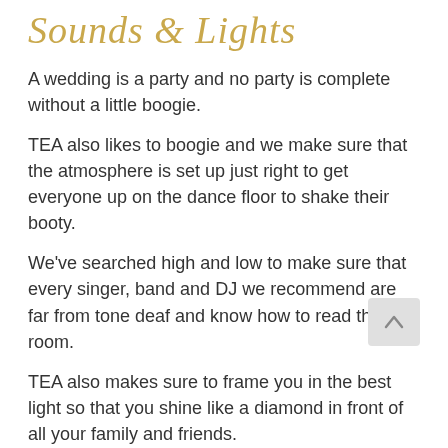Sounds & Lights
A wedding is a party and no party is complete without a little boogie.
TEA also likes to boogie and we make sure that the atmosphere is set up just right to get everyone up on the dance floor to shake their booty.
We've searched high and low to make sure that every singer, band and DJ we recommend are far from tone deaf and know how to read the room.
TEA also makes sure to frame you in the best light so that you shine like a diamond in front of all your family and friends.
[Figure (illustration): A light grey rounded square button with an upward-pointing chevron arrow icon, used as a back-to-top navigation button.]